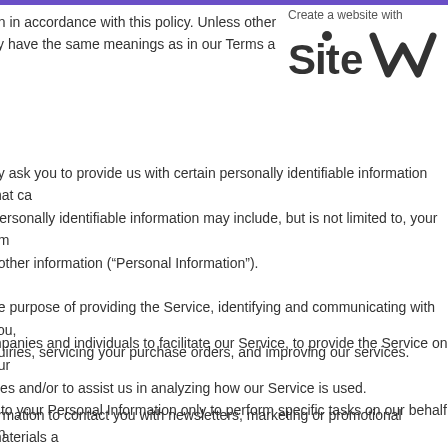on in accordance with this policy. Unless other cy have the same meanings as in our Terms a
[Figure (logo): SiteW logo with text 'Create a website with' above it]
ay ask you to provide us with certain personally identifiable information that ca. Personally identifiable information may include, but is not limited to, your em, other information (“Personal Information”). he purpose of providing the Service, identifying and communicating with you, quiries, servicing your purchase orders, and improving our services.
mpanies and individuals to facilitate our Service, to provide the Service on our ices and/or to assist us in analyzing how our Service is used. s to your Personal Information only to perform specific tasks on our behalf an e your information for any other purpose.
ormation to contact you with newsletters, marketing or promotional materials a rest to you. You may opt out of receiving any, or all, of these communications